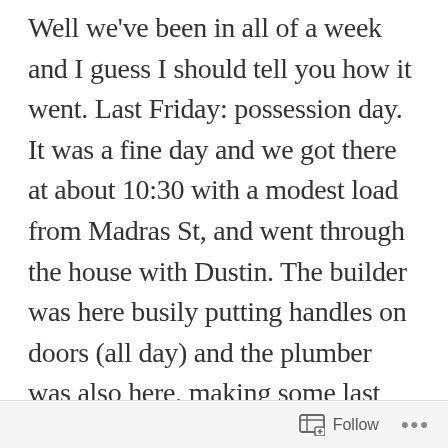Well we've been in all of a week and I guess I should tell you how it went. Last Friday: possession day. It was a fine day and we got there at about 10:30 with a modest load from Madras St, and went through the house with Dustin. The builder was here busily putting handles on doors (all day) and the plumber was also here, making some last minute adjustments to nick's shower. Mostly things looked good although there are still a few things to be done. Dustin was being very agreeable and there were lots of promises to organise for things to be finished over the
Follow ...